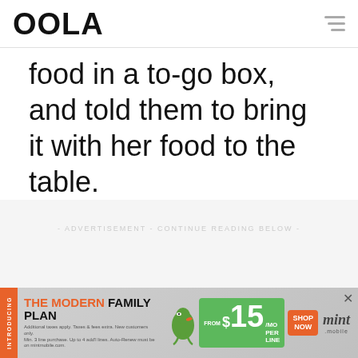OOLA
food in a to-go box, and told them to bring it with her food to the table.
- ADVERTISEMENT - CONTINUE READING BELOW -
[Figure (infographic): Mint Mobile advertisement banner: THE MODERN FAMILY PLAN $15/MO FROM PER LINE SHOP NOW mint mobile]